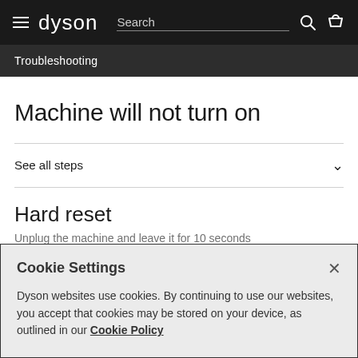dyson | Search | (hamburger menu, search icon, basket icon)
Troubleshooting
Machine will not turn on
See all steps
Hard reset
Unplug the machine and leave it for 10 seconds
Cookie Settings
Dyson websites use cookies. By continuing to use our websites, you accept that cookies may be stored on your device, as outlined in our Cookie Policy